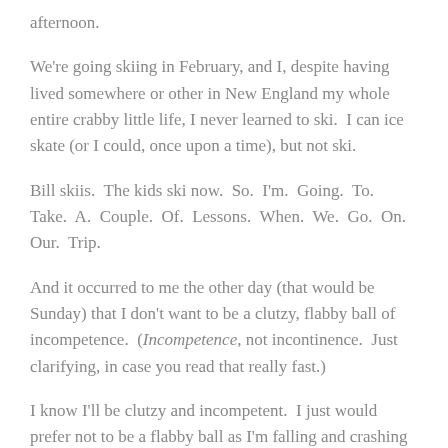afternoon.
We're going skiing in February, and I, despite having lived somewhere or other in New England my whole entire crabby little life, I never learned to ski.  I can ice skate (or I could, once upon a time), but not ski.
Bill skiis.  The kids ski now.  So.  I'm.  Going.  To.  Take.  A.  Couple.  Of.  Lessons.  When.  We.  Go.  On.  Our.  Trip.
And it occurred to me the other day (that would be Sunday) that I don't want to be a clutzy, flabby ball of incompetence.  (Incompetence, not incontinence.  Just clarifying, in case you read that really fast.)
I know I'll be clutzy and incompetent.  I just would prefer not to be a flabby ball as I'm falling and crashing into the trees.  You know?  It would just help, mentally.  It would